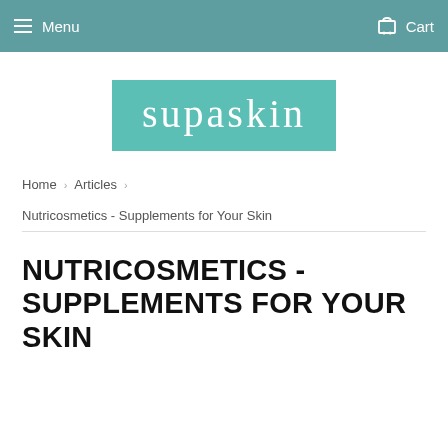Menu   Cart
[Figure (logo): Supaskin logo — teal/mint background with white lowercase text 'supaskin']
Home › Articles ›
Nutricosmetics - Supplements for Your Skin
NUTRICOSMETICS - SUPPLEMENTS FOR YOUR SKIN